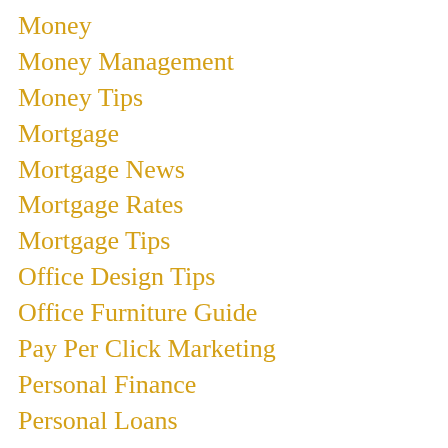Money
Money Management
Money Tips
Mortgage
Mortgage News
Mortgage Rates
Mortgage Tips
Office Design Tips
Office Furniture Guide
Pay Per Click Marketing
Personal Finance
Personal Loans
Quick Cash
Real Estate
Refinance